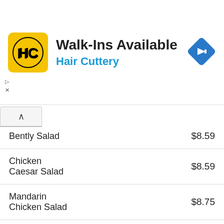[Figure (logo): Hair Cuttery advertisement banner with HC logo, 'Walk-Ins Available' heading, 'Hair Cuttery' subheading, and blue direction arrow icon]
| Item |  | Price |
| --- | --- | --- |
| Bently Salad |  | $8.59 |
| Chicken Caesar Salad |  | $8.59 |
| Mandarin Chicken Salad |  | $8.75 |
| Thai Chicken Salad |  | $8.99 |
| Mediterranean Salad |  | $8.99 |
| Tivoli Salad |  | $8.99 |
| Buffalo Bleu Salad |  | $8.79 |
| Greek Salad |  | $8.49 |
| Nicoise Salad (partial) |  | $8.79 |